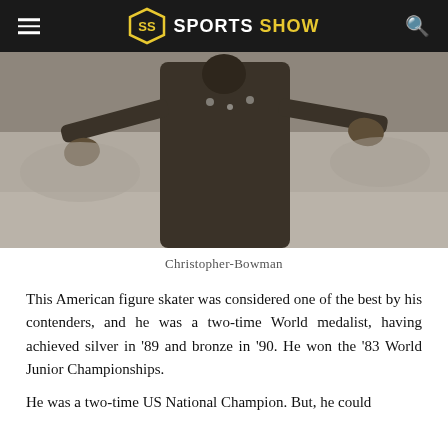SPORTS SHOW
[Figure (photo): Black and white photo of Christopher Bowman figure skating, wearing a dark costume with decorative elements, arms outstretched in a performance pose]
Christopher-Bowman
This American figure skater was considered one of the best by his contenders, and he was a two-time World medalist, having achieved silver in '89 and bronze in '90. He won the '83 World Junior Championships.
He was a two-time US National Champion. But, he could